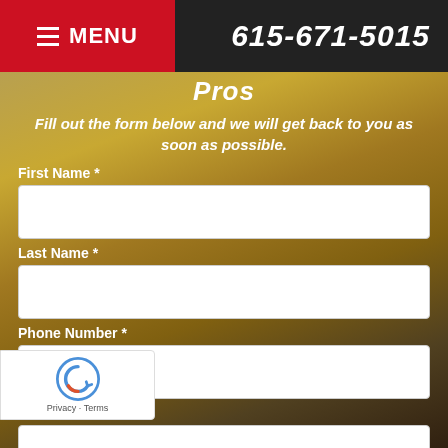MENU | 615-671-5015
Pros
Fill out the form below and we will get back to you as soon as possible.
First Name *
Last Name *
Phone Number *
Email *
Comments *